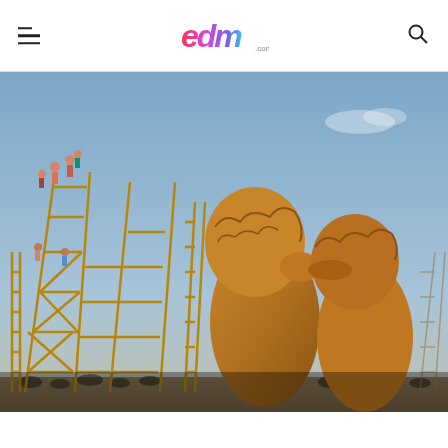EDM.com
[Figure (photo): Burning Man festival scene with large wooden scaffold structure on the left with people climbing it, and two large golden sculptural figures appearing to kiss on the right, under a dusk sky with crowd below.]
PARIS ELECTRONIC WEEK 2019 TO INCLUDE PANEL ON